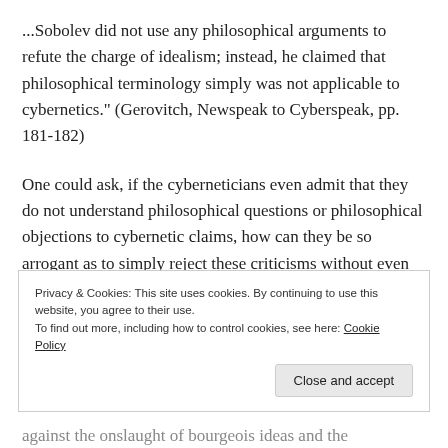...Sobolev did not use any philosophical arguments to refute the charge of idealism; instead, he claimed that philosophical terminology simply was not applicable to cybernetics." (Gerovitch, Newspeak to Cyberspeak, pp. 181-182)
One could ask, if the cyberneticians even admit that they do not understand philosophical questions or philosophical objections to cybernetic claims, how can they be so arrogant as to simply reject these criticisms without even understanding them?
Privacy & Cookies: This site uses cookies. By continuing to use this website, you agree to their use.
To find out more, including how to control cookies, see here: Cookie Policy
against the onslaught of bourgeois ideas and the